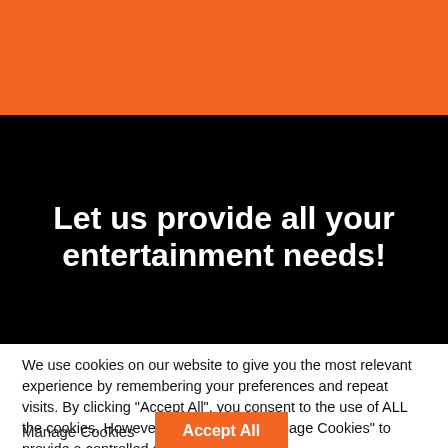[Figure (other): Orange header bar background]
[Figure (other): Black hero section background]
Let us provide all your entertainment needs!
We use cookies on our website to give you the most relevant experience by remembering your preferences and repeat visits. By clicking “Accept All”, you consent to the use of ALL the cookies. However, you may visit "Manage Cookies" to provide a controlled consent. Read More
Manage Cookies
Accept All